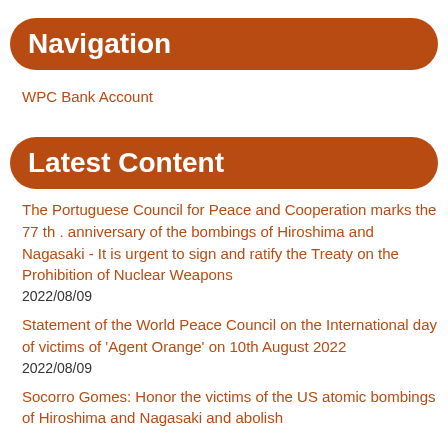Navigation
WPC Bank Account
Latest Content
The Portuguese Council for Peace and Cooperation marks the 77 th . anniversary of the bombings of Hiroshima and Nagasaki - It is urgent to sign and ratify the Treaty on the Prohibition of Nuclear Weapons
2022/08/09
Statement of the World Peace Council on the International day of victims of 'Agent Orange' on 10th August 2022
2022/08/09
Socorro Gomes: Honor the victims of the US atomic bombings of Hiroshima and Nagasaki and abolish